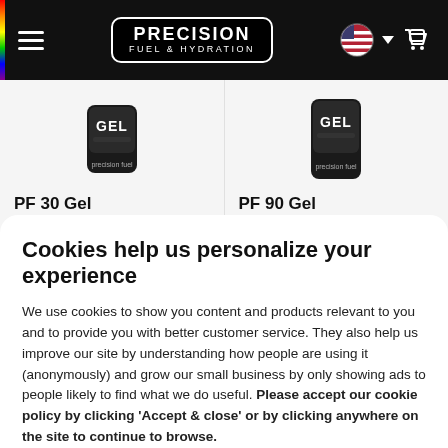PRECISION FUEL & HYDRATION
[Figure (screenshot): Product card: PF 30 Gel energy gel packet (black packaging), priced at $11.99]
[Figure (screenshot): Product card: PF 90 Gel energy gel packet (black packaging), priced at $19.99]
Cookies help us personalize your experience
We use cookies to show you content and products relevant to you and to provide you with better customer service. They also help us improve our site by understanding how people are using it (anonymously) and grow our small business by only showing ads to people likely to find what we do useful. Please accept our cookie policy by clicking 'Accept & close' or by clicking anywhere on the site to continue to browse.
ACCEPT & CLOSE
Manage cookies